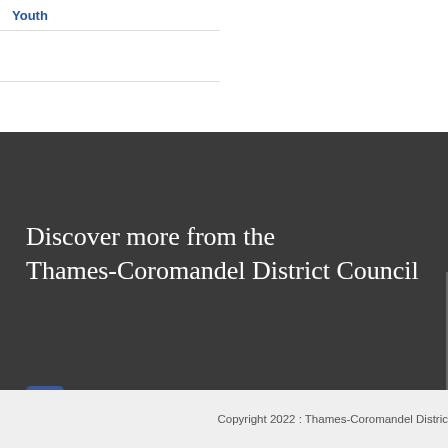Youth
Discover more from the Thames-Coromandel District Council
[Figure (logo): Facebook logo icon — white 'f' on blue square background]
Copyright 2022 : Thames-Coromandel Distric